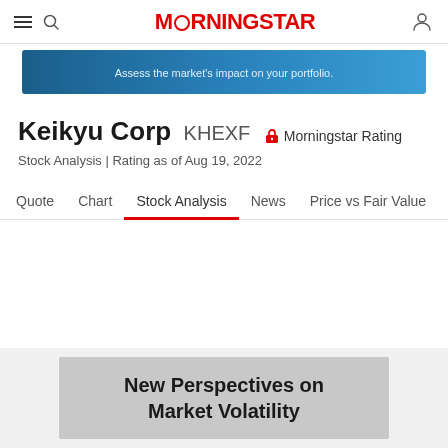MORNINGSTAR
[Figure (screenshot): Blue banner advertisement: 'Assess the market's impact on your portfolio.']
Keikyu Corp KHEXF — Morningstar Rating
Stock Analysis | Rating as of Aug 19, 2022
Quote  Chart  Stock Analysis  News  Price vs Fair Value  Sustai
[Figure (screenshot): Gray advertisement banner: 'New Perspectives on Market Volatility']